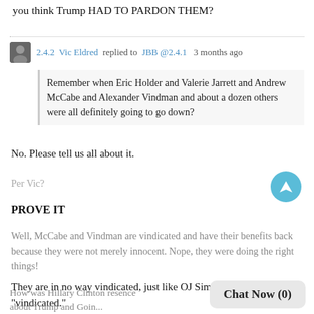you think Trump HAD TO PARDON THEM?
2.4.2  Vic Eldred  replied to  JBB @2.4.1   3 months ago
Remember when Eric Holder and Valerie Jarrett and Andrew McCabe and Alexander Vindman and about a dozen others were all definitely going to go down?
No. Please tell us all about it.
Per Vic?
PROVE IT
Well, McCabe and Vindman are vindicated and have their benefits back because they were not merely innocent. Nope, they were doing the right things!
They are in no way vindicated, just like OJ Simpson was never "vindicated."
How was Hillary Clinton res... ence about Trump and Goin...
Chat Now (0)